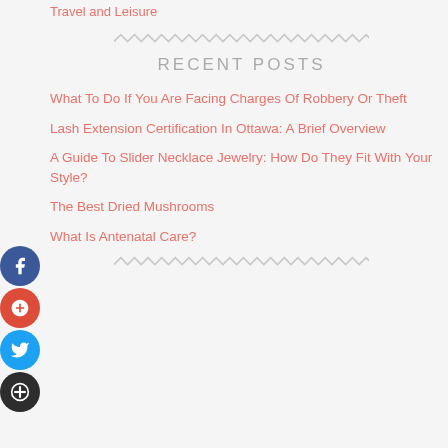Travel and Leisure
[Figure (other): Zigzag/wavy decorative divider line]
RECENT POSTS
What To Do If You Are Facing Charges Of Robbery Or Theft
Lash Extension Certification In Ottawa: A Brief Overview
A Guide To Slider Necklace Jewelry: How Do They Fit With Your Style?
The Best Dried Mushrooms
What Is Antenatal Care?
[Figure (other): Zigzag/wavy decorative divider line]